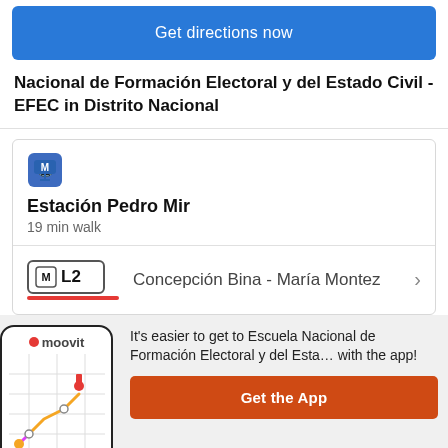Get directions now
Nacional de Formación Electoral y del Estado Civil - EFEC in Distrito Nacional
[Figure (screenshot): Transit card showing Estación Pedro Mir metro station with 19 min walk, and line L2 Concepción Bina - María Montez]
[Figure (screenshot): Moovit app promo section with phone showing map route, text about getting to Escuela Nacional de Formación Electoral y del Esta... with the app, and Get the App button]